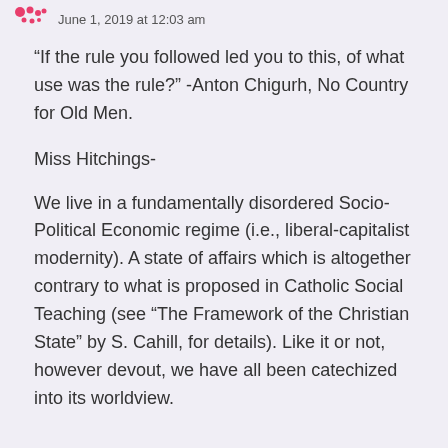June 1, 2019 at 12:03 am
“If the rule you followed led you to this, of what use was the rule?” -Anton Chigurh, No Country for Old Men.
Miss Hitchings-
We live in a fundamentally disordered Socio-Political Economic regime (i.e., liberal-capitalist modernity). A state of affairs which is altogether contrary to what is proposed in Catholic Social Teaching (see “The Framework of the Christian State” by S. Cahill, for details). Like it or not, however devout, we have all been catechized into its worldview.